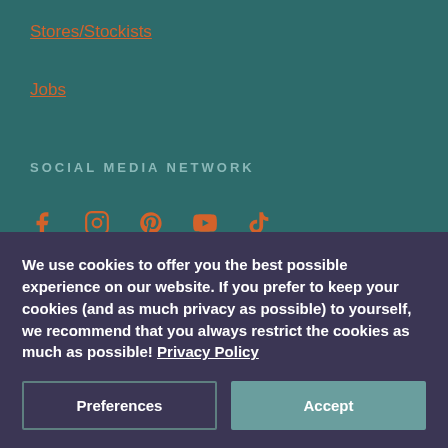Stores/Stockists
Jobs
SOCIAL MEDIA NETWORK
[Figure (infographic): Social media icons: Facebook, Instagram, Pinterest, YouTube, TikTok in orange]
© MANITOBER
We use cookies to offer you the best possible experience on our website. If you prefer to keep your cookies (and as much privacy as possible) to yourself, we recommend that you always restrict the cookies as much as possible! Privacy Policy
Preferences | Accept